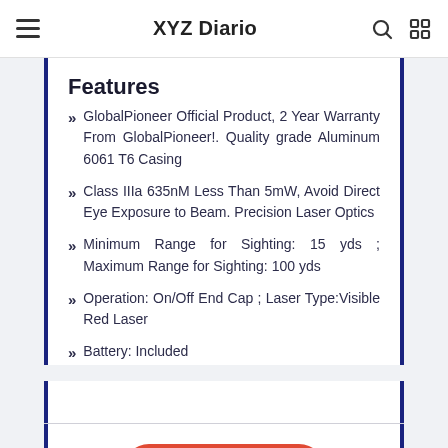XYZ Diario
Features
GlobalPioneer Official Product, 2 Year Warranty From GlobalPioneer!. Quality grade Aluminum 6061 T6 Casing
Class IIIa 635nM Less Than 5mW, Avoid Direct Eye Exposure to Beam. Precision Laser Optics
Minimum Range for Sighting: 15 yds ; Maximum Range for Sighting: 100 yds
Operation: On/Off End Cap ; Laser Type:Visible Red Laser
Battery: Included